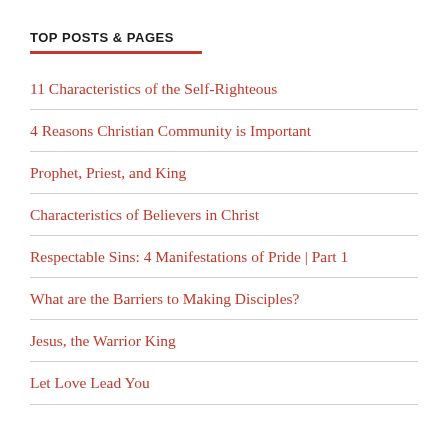TOP POSTS & PAGES
11 Characteristics of the Self-Righteous
4 Reasons Christian Community is Important
Prophet, Priest, and King
Characteristics of Believers in Christ
Respectable Sins: 4 Manifestations of Pride | Part 1
What are the Barriers to Making Disciples?
Jesus, the Warrior King
Let Love Lead You